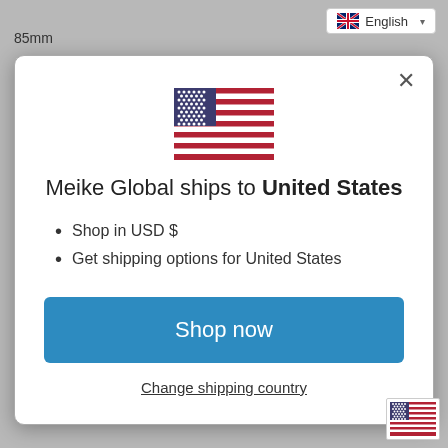English
85mm
[Figure (screenshot): Modal dialog showing Meike Global shipping to United States with US flag, bullet points, Shop now button, and Change shipping country link]
[Figure (illustration): Small US flag icon in bottom-right corner]